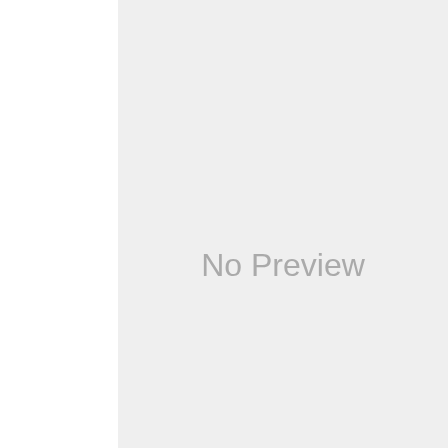[Figure (other): No Preview placeholder image with light gray background]
KALASH: NAVEDITA'S WEDDING HALTED!
[Figure (photo): A man and woman facing each other against a dark background, appearing to be in a dramatic scene]